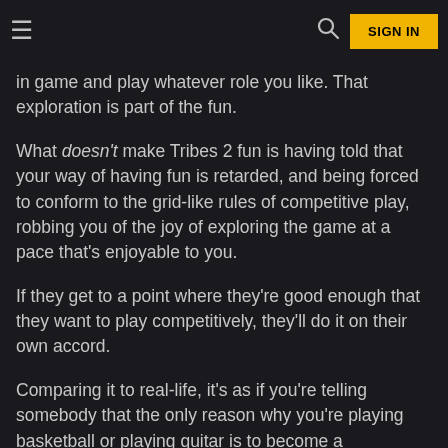What makes Tribes 2 fun for so many players is the ability to jump in game and play whatever role you like. That exploration is part of the fun.
in game and play whatever role you like. That exploration is part of the fun.
What doesn't make Tribes 2 fun is having told that your way of having fun is retarded, and being forced to conform to the grid-like rules of competitive play, robbing you of the joy of exploring the game at a pace that's enjoyable to you.
If they get to a point where they're good enough that they want to play competitively, they'll do it on their own accord.
Comparing it to real-life, it's as if you're telling somebody that the only reason why you're playing basketball or playing guitar is to become a professional. You have no other reason to play. And